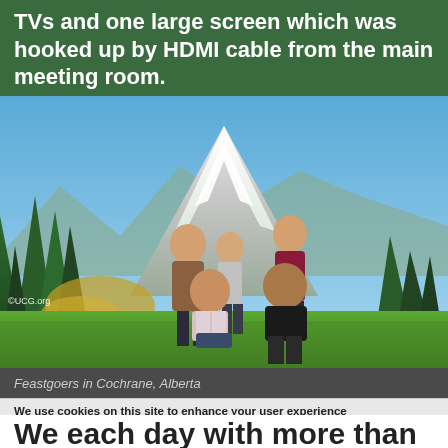TVs and one large screen which was hooked up by HDMI cable from the main meeting room.
[Figure (photo): Family of five posing in front of a large snow-capped mountain (likely Mount Robson) in Cochrane, Alberta. The family consists of two adults and three children standing on green grass with evergreen trees and mountain in the background. Copyright mark: ©UCG.org]
Feastgoers in Cochrane, Alberta
We use cookies on this site to enhance your user experience By clicking any link on this page you are giving your consent for us to set cookies. More info
We each day with more than 30